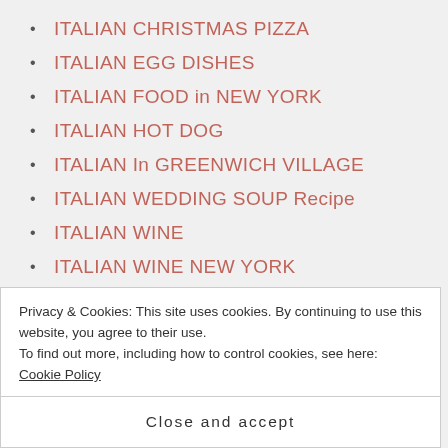ITALIAN CHRISTMAS PIZZA
ITALIAN EGG DISHES
ITALIAN FOOD in NEW YORK
ITALIAN HOT DOG
ITALIAN In GREENWICH VILLAGE
ITALIAN WEDDING SOUP Recipe
ITALIAN WINE
ITALIAN WINE NEW YORK
Jacque Zucker Paintings
JAMES GANDOLFINI
JERSEY SHORE CRAB SAUCE
Privacy & Cookies: This site uses cookies. By continuing to use this website, you agree to their use. To find out more, including how to control cookies, see here: Cookie Policy
Close and accept